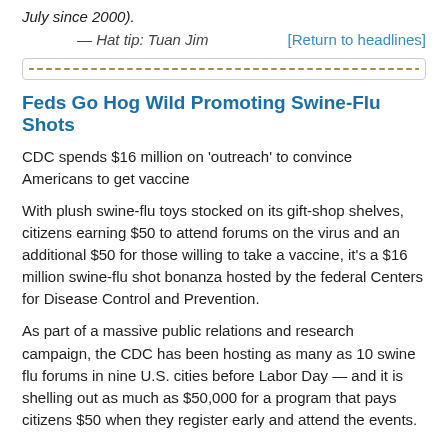July since 2000).
— Hat tip: Tuan Jim   [Return to headlines]
[Figure (other): Decorative dashed divider line inside a rounded border box]
Feds Go Hog Wild Promoting Swine-Flu Shots
CDC spends $16 million on 'outreach' to convince Americans to get vaccine
With plush swine-flu toys stocked on its gift-shop shelves, citizens earning $50 to attend forums on the virus and an additional $50 for those willing to take a vaccine, it's a $16 million swine-flu shot bonanza hosted by the federal Centers for Disease Control and Prevention.
As part of a massive public relations and research campaign, the CDC has been hosting as many as 10 swine flu forums in nine U.S. cities before Labor Day — and it is shelling out as much as $50,000 for a program that pays citizens $50 when they register early and attend the events.